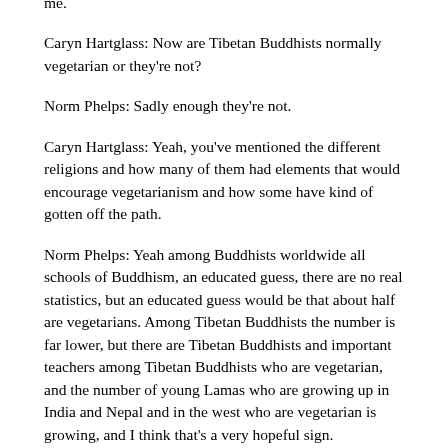me.
Caryn Hartglass: Now are Tibetan Buddhists normally vegetarian or they're not?
Norm Phelps: Sadly enough they're not.
Caryn Hartglass: Yeah, you've mentioned the different religions and how many of them had elements that would encourage vegetarianism and how some have kind of gotten off the path.
Norm Phelps: Yeah among Buddhists worldwide all schools of Buddhism, an educated guess, there are no real statistics, but an educated guess would be that about half are vegetarians. Among Tibetan Buddhists the number is far lower, but there are Tibetan Buddhists and important teachers among Tibetan Buddhists who are vegetarian, and the number of young Lamas who are growing up in India and Nepal and in the west who are vegetarian is growing, and I think that's a very hopeful sign.
Caryn Hartglass: And yes, well unfortunately, there's a lot of human rights issues too, in Tibet, and many other places.